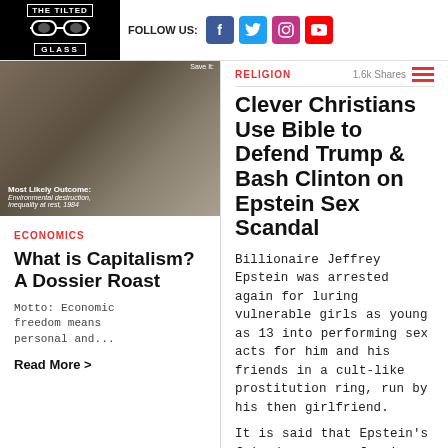[Figure (logo): The Tilted Glass logo - black and white with glasses graphic]
FOLLOW US:
[Figure (infographic): Social media icons: Facebook, Twitter, Instagram, YouTube]
[Figure (photo): Article thumbnail image with text: Most Likely Outcome: Environmental destruction, Inequality at rest, 1984]
ECONOMICS
What is Capitalism? A Dossier Roast
Motto: Economic freedom means personal and...
Read More >
RELIGION
1.6k Shares
Clever Christians Use Bible to Defend Trump & Bash Clinton on Epstein Sex Scandal
Billionaire Jeffrey Epstein was arrested again for luring vulnerable girls as young as 13 into performing sex acts for him and his friends in a cult-like prostitution ring, run by his then girlfriend.
It is said that Epstein's friends are now fearing a massive fallout. The most shocking implication being that...
Read More >